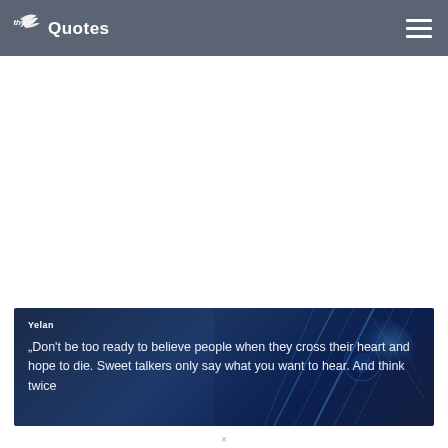thyQuotes [logo]
[Figure (illustration): Quote card with dark blue background and abstract light beam/tech graphic on right side, showing author name Yelan and a partial quote text]
Yelan
„Don't be too ready to believe people when they cross their heart and hope to die. Sweet talkers only say what you want to hear. And think twice